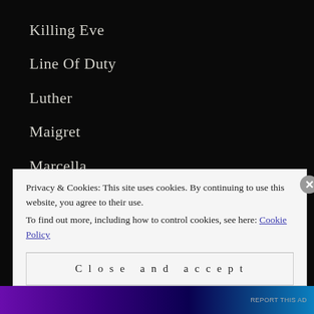Killing Eve
Line Of Duty
Luther
Maigret
Marcella
Mindhunter
Morse
Privacy & Cookies: This site uses cookies. By continuing to use this website, you agree to their use.
To find out more, including how to control cookies, see here: Cookie Policy
Close and accept